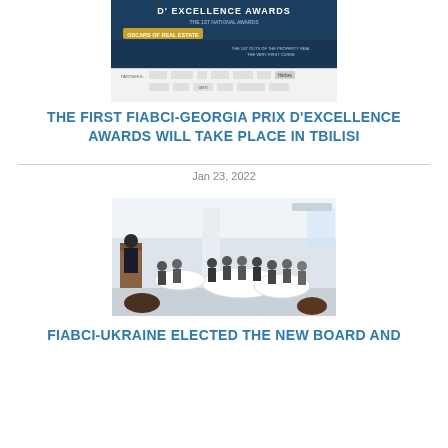[Figure (photo): FIABCI Prix d'Excellence Awards banner - The 1st National Awards, Oscars of Real Estate promotional image with dark blue background, gold pill label, and partner logos at bottom]
THE FIRST FIABCI-GEORGIA PRIX D'EXCELLENCE AWARDS WILL TAKE PLACE IN TBILISI
Jan 23, 2022
[Figure (photo): Meeting room photograph showing a presenter at a podium speaking to a group of people seated at round tables covered with white tablecloths in a bright modern conference room]
FIABCI-UKRAINE ELECTED THE NEW BOARD AND